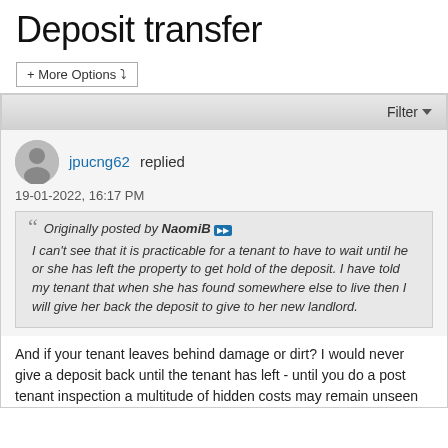Deposit transfer
+ More Options ▾
Filter ▼
jpucng62 replied
19-01-2022, 16:17 PM
Originally posted by NaomiB ▶▶
I can't see that it is practicable for a tenant to have to wait until he or she has left the property to get hold of the deposit. I have told my tenant that when she has found somewhere else to live then I will give her back the deposit to give to her new landlord.
And if your tenant leaves behind damage or dirt? I would never give a deposit back until the tenant has left - until you do a post tenant inspection a multitude of hidden costs may remain unseen